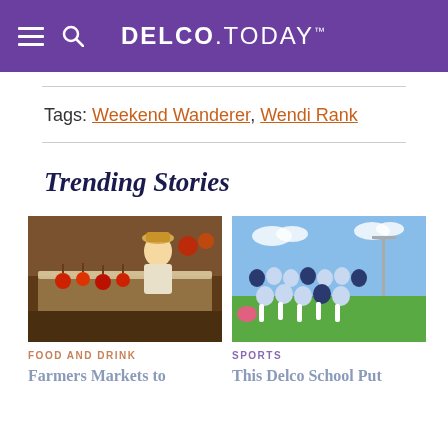DELCO.TODAY
Tags: Weekend Wanderer, Wendi Rank
Trending Stories
[Figure (photo): Vendor at a farmers market food stall with caramel apples and treats on display]
[Figure (photo): Group of female field hockey players posing on a sports field after a match]
FOOD AND DRINK
Farmers Markets to
SPORTS
This Delco School Put